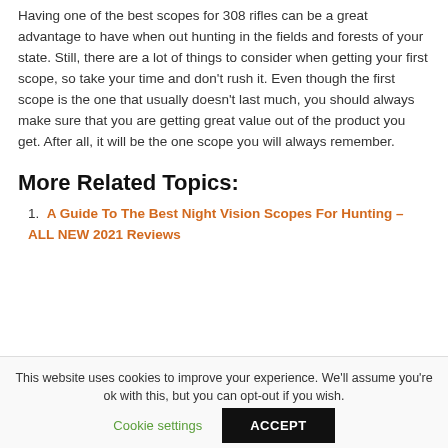Having one of the best scopes for 308 rifles can be a great advantage to have when out hunting in the fields and forests of your state. Still, there are a lot of things to consider when getting your first scope, so take your time and don't rush it. Even though the first scope is the one that usually doesn't last much, you should always make sure that you are getting great value out of the product you get. After all, it will be the one scope you will always remember.
More Related Topics:
1. A Guide To The Best Night Vision Scopes For Hunting – ALL NEW 2021 Reviews
This website uses cookies to improve your experience. We'll assume you're ok with this, but you can opt-out if you wish.
Cookie settings | ACCEPT